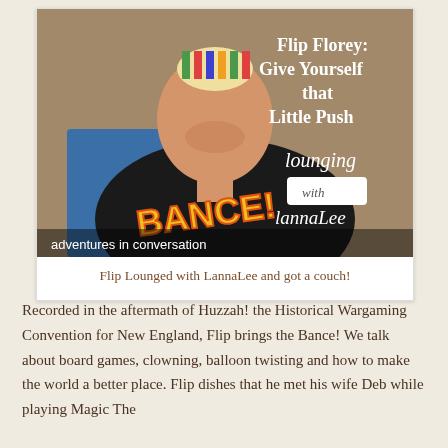[Figure (photo): Photo of a man wearing a black BANCE! t-shirt sitting in a blue chair, with a striped object on top of his head, smiling at the camera. Overlaid text reads: 'Flip Florey: Give Yourself that Little Push' and 'Lounging with LannaLee' and 'adventures in conversation'.]
Flip Lounged with LannaLee and got a couch!
Recorded in the aftermath of Huzzah! the Historical Wargaming Convention for New England, Flip brings the Bance! We talk about board games, clowning, balloon twisting and how to make the world a better place. Flip dishes that he met his wife Deb while playing Magic The